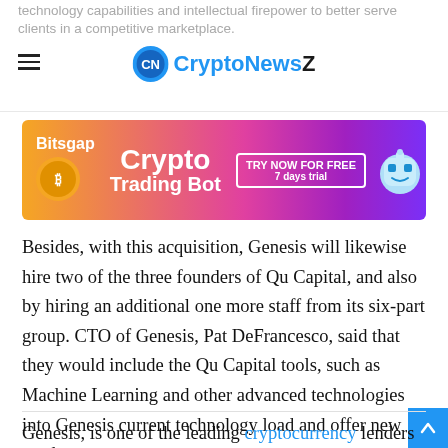technology capabilities and intellectual firepower to better serve clients in a competitive marketplace.
[Figure (illustration): Bitsgap Crypto Trading Bot advertisement banner with orange-to-purple gradient background, coin icons, robot mascot, and 'TRY NOW FOR FREE 7 days trial' button]
Besides, with this acquisition, Genesis will likewise hire two of the three founders of Qu Capital, and also by hiring an additional one more staff from its six-part group. CTO of Genesis, Pat DeFrancesco, said that they would include the Qu Capital tools, such as Machine Learning and other advanced technologies into Genesis current technology load and offer new product support.
Genesis, is one of the leading cryptocurrency lenders